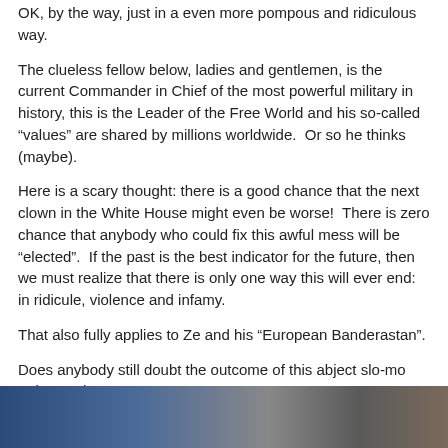OK, by the way, just in a even more pompous and ridiculous way.
The clueless fellow below, ladies and gentlemen, is the current Commander in Chief of the most powerful military in history, this is the Leader of the Free World and his so-called “values” are shared by millions worldwide.  Or so he thinks (maybe).
Here is a scary thought: there is a good chance that the next clown in the White House might even be worse!  There is zero chance that anybody who could fix this awful mess will be “elected”.  If the past is the best indicator for the future, then we must realize that there is only one way this will ever end: in ridicule, violence and infamy.
That also fully applies to Ze and his “European Banderastan”.
Does anybody still doubt the outcome of this abject slo-mo train wreck?
Yes?
Then listen to him for yourself and reach your own conclusions.
Andrei
[Figure (photo): Partial photo visible at bottom of page, cropped — appears to show a person at a podium or official setting with blue and gray tones.]